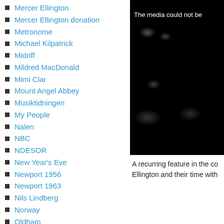Mercer Ellington
Mercer Ellington donation
Metronome
Michael Kilpatrick
Midriff
Mildred MacDonald
Mimi Clar
Mount Angel Abbey
Musiktidningen
My People
Nalen
NBC
NDESOR
New Year's Eve
Newport 1956
Newport 1963
Nils Lindberg
Norway
Oldham
Orkesterjournalen
Oscar Pettiford
Otto Hardwick
Ove Hahn
[Figure (photo): Dark photo with text overlay reading 'The media could not be' — appears to be a video player error screen over a dark concert/performance image]
A recurring feature in the co Ellington and their time with